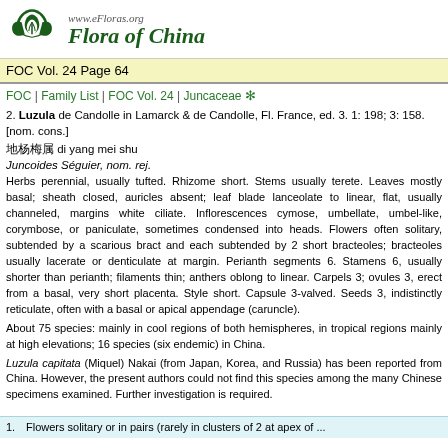www.eFloras.org Flora of China
FOC Vol. 24 Page 64
FOC | Family List | FOC Vol. 24 | Juncaceae
2. Luzula de Candolle in Lamarck & de Candolle, Fl. France, ed. 3. 1: 198; 3: 158. [nom. cons.]
地 di yang mei shu
Juncoides Séguier, nom. rej.
Herbs perennial, usually tufted. Rhizome short. Stems usually terete. Leaves mostly basal; sheath closed, auricles absent; leaf blade lanceolate to linear, flat, usually channeled, margins white ciliate. Inflorescences cymose, umbellate, umbel-like, corymbose, or paniculate, sometimes condensed into heads. Flowers often solitary, subtended by a scarious bract and each subtended by 2 short bracteoles; bracteoles usually lacerate or denticulate at margin. Perianth segments 6. Stamens 6, usually shorter than perianth; filaments thin; anthers oblong to linear. Carpels 3; ovules 3, erect from a basal, very short placenta. Style short. Capsule 3-valved. Seeds 3, indistinctly reticulate, often with a basal or apical appendage (caruncle).
About 75 species: mainly in cool regions of both hemispheres, in tropical regions mainly at high elevations; 16 species (six endemic) in China.
Luzula capitata (Miquel) Nakai (from Japan, Korea, and Russia) has been reported from China. However, the present authors could not find this species among the many Chinese specimens examined. Further investigation is required.
1. Flowers solitary or in pairs (rarely in clusters of 2 at apex of ...